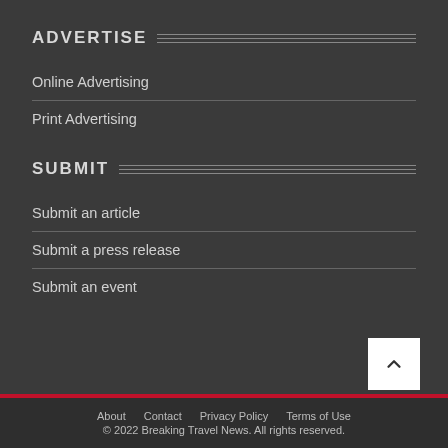ADVERTISE
Online Advertising
Print Advertising
SUBMIT
Submit an article
Submit a press release
Submit an event
About  Contact  Privacy Policy  Terms of Use  © 2022 Breaking Travel News. All rights reserved.